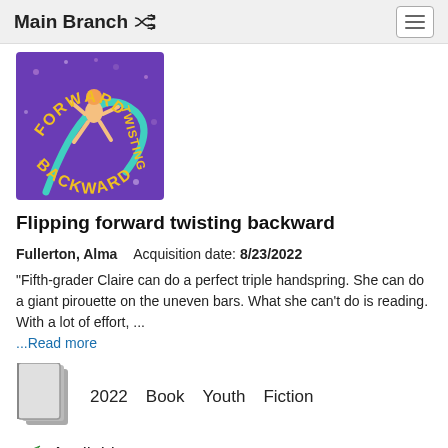Main Branch
[Figure (illustration): Book cover for 'Flipping forward twisting backward' — purple background with gold text and a gymnast figure]
Flipping forward twisting backward
Fullerton, Alma    Acquisition date: 8/23/2022
"Fifth-grader Claire can do a perfect triple handspring. She can do a giant pirouette on the uneven bars. What she can't do is reading. With a lot of effort, ...
...Read more
2022   Book   Youth   Fiction
Available